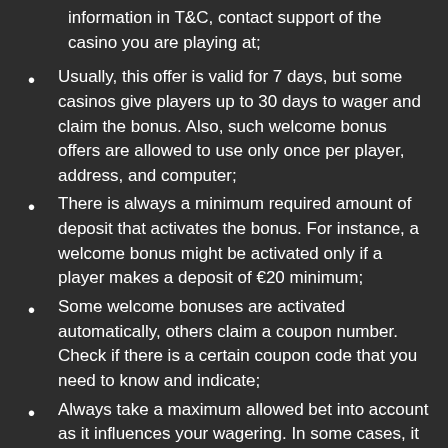information in T&C, contact support of the casino you are playing at;
Usually, this offer is valid for 7 days, but some casinos give players up to 30 days to wager and claim the bonus. Also, such welcome bonus offers are allowed to use only once per player, address, and computer;
There is always a minimum required amount of deposit that activates the bonus. For instance, a welcome bonus might be activated only if a player makes a deposit of €20 minimum;
Some welcome bonuses are activated automatically, others claim a coupon number. Check if there is a certain coupon code that you need to know and indicate;
Always take a maximum allowed bet into account as it influences your wagering. In some cases, it can be €5.